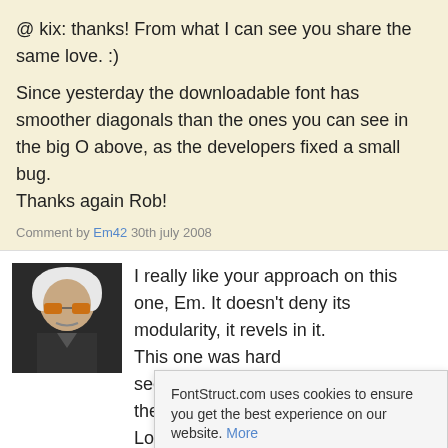@ kix: thanks! From what I can see you share the same love. :)
Since yesterday the downloadable font has smoother diagonals than the ones you can see in the big O above, as the developers fixed a small bug.
Thanks again Rob!
Comment by Em42 30th july 2008
[Figure (photo): Black and white avatar photo of a person with white hair wearing orange sunglasses]
I really like your approach on this one, Em. It doesn't deny its modularity, it revels in it.
This one was hard ... seems to be eludir... the images on the...
Looks like the "Top... might just be my computer acting up again.
FontStruct.com uses cookies to ensure you get the best experience on our website. More
Got it